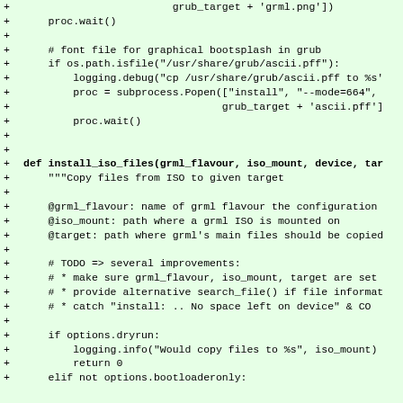[Figure (screenshot): Code diff showing Python source code with added lines (marked with +) for install_iso_files function, including file copying logic, subprocess calls, and docstring documentation.]